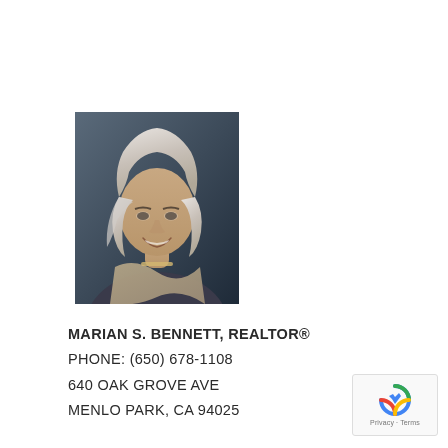[Figure (photo): Professional headshot of a woman with gray-white hair, smiling, wearing a gray scarf/wrap and dark top with a necklace. Dark blue-gray background.]
MARIAN S. BENNETT, REALTOR®
PHONE: (650) 678-1108
640 OAK GROVE AVE
MENLO PARK, CA 94025